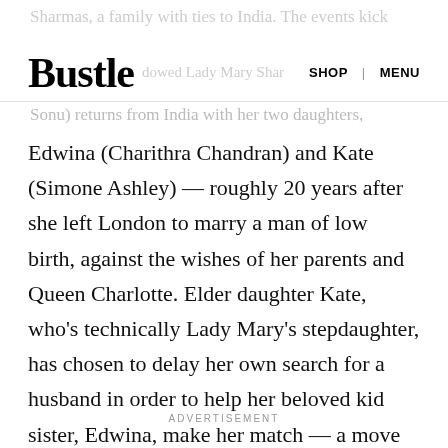Bustle | SHOP | MENU
Edwina (Charithra Chandran) and Kate (Simone Ashley) — roughly 20 years after she left London to marry a man of low birth, against the wishes of her parents and Queen Charlotte. Elder daughter Kate, who's technically Lady Mary's stepdaughter, has chosen to delay her own search for a husband in order to help her beloved kid sister, Edwina, make her match — a move that could help get the family back into Lady Mary's parents' good graces.
ADVERTISEMENT